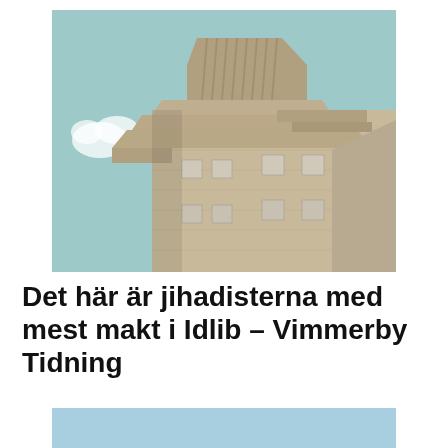[Figure (photo): Brutalist concrete multi-story building photographed from below against a light teal sky with a few white clouds. The building has stepped, angular concrete overhangs and a large rectangular upper structure with vertical ridges.]
Det här är jihadisterna med mest makt i Idlib – Vimmerby Tidning
[Figure (other): Light blue rectangular block at the bottom of the page.]